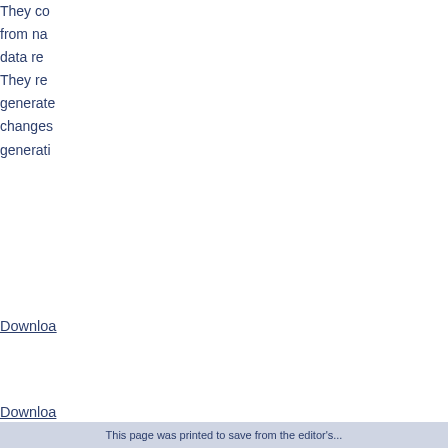They co... from na... data re... They re... generate... changes... generati...
Downloa...
Downloa...
SECTION B: LAND & SEA BA...
B1 Seeing the Unseen...
In this... classify... They ref... how it... environm... happenin...
Downloa...
This page was printed to save from the editor's...